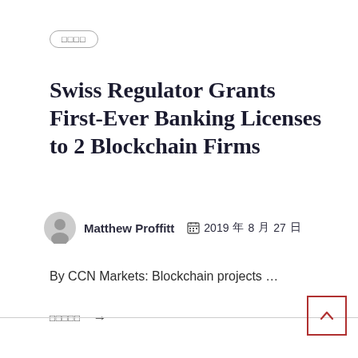□□□□
Swiss Regulator Grants First-Ever Banking Licenses to 2 Blockchain Firms
Matthew Proffitt  2019年8月27日
By CCN Markets: Blockchain projects …
□□□□□  →